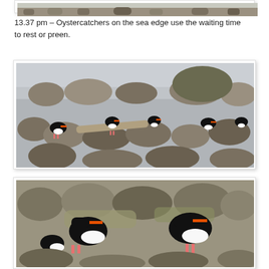[Figure (photo): Top partial photo of oystercatchers at sea edge, cropped at top of page]
13.37 pm – Oystercatchers on the sea edge use the waiting time to rest or preen.
[Figure (photo): Photo of multiple oystercatchers resting among rocks and pebbles at the sea edge, with water visible in background]
[Figure (photo): Close-up photo of oystercatchers preening among rocks, showing distinctive black and white plumage with orange-red bills]